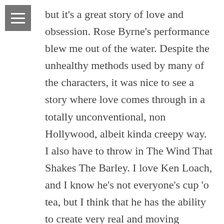but it's a great story of love and obsession. Rose Byrne's performance blew me out of the water. Despite the unhealthy methods used by many of the characters, it was nice to see a story where love comes through in a totally unconventional, non Hollywood, albeit kinda creepy way. I also have to throw in The Wind That Shakes The Barley. I love Ken Loach, and I know he's not everyone's cup 'o tea, but I think that he has the ability to create very real and moving characters. The Irish revolution and Civil war is a very interesting bit of History, even if the truth can't quite be picked out. This is not a movie to be undertaken lightly. It's emotionally overwhelming and it does not